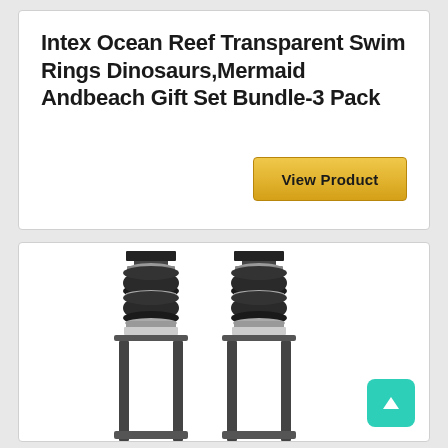Intex Ocean Reef Transparent Swim Rings Dinosaurs,Mermaid Andbeach Gift Set Bundle-3 Pack
[Figure (other): Golden 'View Product' button]
[Figure (photo): Two black air spring / air bag suspension components side by side on white background, with metal fittings at top and bottom]
[Figure (other): Teal/cyan scroll-to-top button with upward arrow icon in bottom right corner]